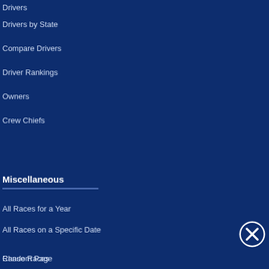Drivers
Drivers by State
Compare Drivers
Driver Rankings
Owners
Crew Chiefs
Active Drivers' Career Stats
NASCAR Cup Series
Xfinity Series
Camping World Truck Series
NASCAR Pinty's Series
NTT IndyCar Series
ARCA Menards Series
Miscellaneous
All Races for a Year
All Races on a Specific Date
Random Page
Chase Races
Road Course Stats